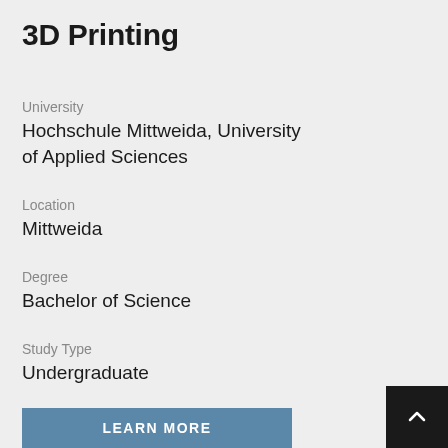3D Printing
University
Hochschule Mittweida, University of Applied Sciences
Location
Mittweida
Degree
Bachelor of Science
Study Type
Undergraduate
Modes of study
full-time
LEARN MORE